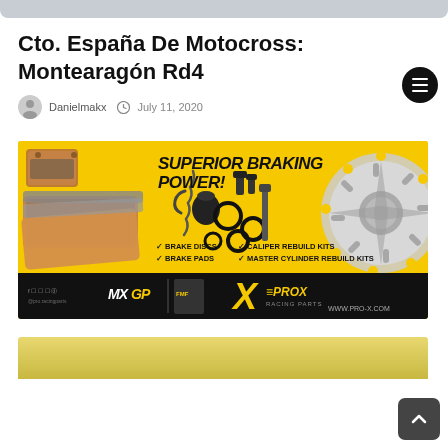Cto. España De Motocross: Montearagón Rd4
Danielmakx  July 11, 2020
[Figure (infographic): ProX Racing Parts advertisement banner with yellow background, showing brake pads on left, brake hardware components in center, a brake rotor disc on right, text 'SUPERIOR BRAKING POWER!', checklist of BRAKE DISCS, CALIPER REBUILD KITS, BRAKE PADS, MASTER CYLINDER REBUILD KITS, ProX and MXGP logos on black bottom bar, WWW.PRO-X.COM]
[Figure (photo): Partial view of a yellow-toned image at the very bottom of the page, likely another photo or advertisement beginning]